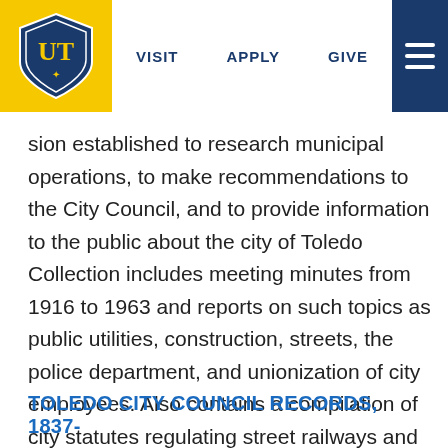[Figure (logo): University of Toledo shield logo on yellow background]
VISIT   APPLY   GIVE
...sion established to research municipal operations, to make recommendations to the City Council, and to provide information to the public about the city of Toledo Collection includes meeting minutes from 1916 to 1963 and reports on such topics as public utilities, construction, streets, the police department, and unionization of city employees. Also contains a compilation of city statutes regulating street railways and public utilities. MSS-030, 1 linear foot. See also: entry under Labor
TOLEDO CITY COUNCIL RECORDS, 1837-